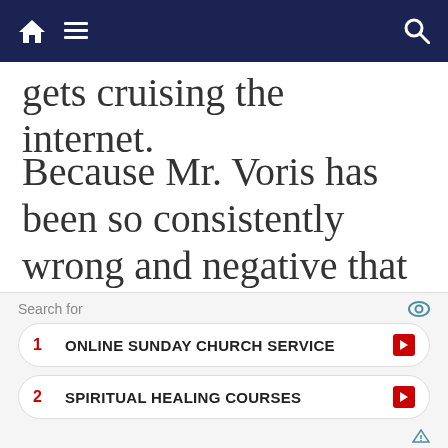Navigation bar with home, menu, and search icons
gets cruising the internet.
Because Mr. Voris has been so consistently wrong and negative that he can't see the truth – his towering
[Figure (screenshot): Advertisement widget with 'Search for' header and two sponsored listings: 1. ONLINE SUNDAY CHURCH SERVICE, 2. SPIRITUAL HEALING COURSES]
1  ONLINE SUNDAY CHURCH SERVICE
2  SPIRITUAL HEALING COURSES